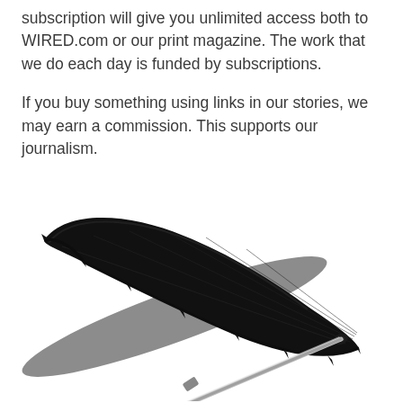subscription will give you unlimited access both to WIRED.com or our print magazine. The work that we do each day is funded by subscriptions.
If you buy something using links in our stories, we may earn a commission. This supports our journalism.
[Figure (photo): A black compact folding umbrella shown open and at an angle, with a silver metal shaft and a black handle with a wrist strap, on a white background.]